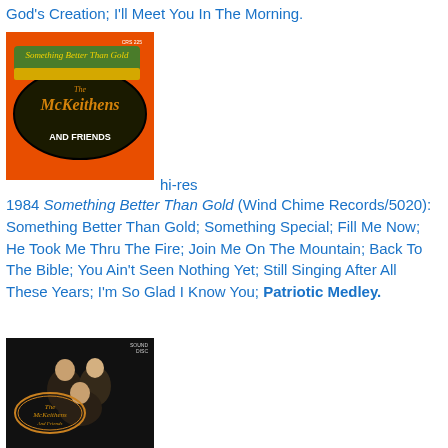God's Creation; I'll Meet You In The Morning.
[Figure (photo): Album cover for 'Something Better Than Gold' by The McKeithens And Friends on orange background]
hi-res
1984 Something Better Than Gold (Wind Chime Records/5020): Something Better Than Gold; Something Special; Fill Me Now; He Took Me Thru The Fire; Join Me On The Mountain; Back To The Bible; You Ain't Seen Nothing Yet; Still Singing After All These Years; I'm So Glad I Know You; Patriotic Medley.
[Figure (photo): Album cover with dark background showing group photo, with logo text visible]